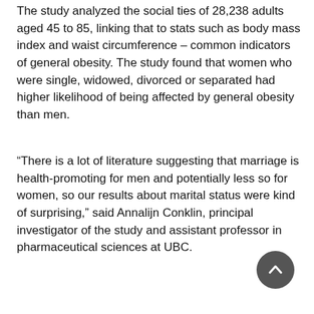The study analyzed the social ties of 28,238 adults aged 45 to 85, linking that to stats such as body mass index and waist circumference – common indicators of general obesity. The study found that women who were single, widowed, divorced or separated had higher likelihood of being affected by general obesity than men.
“There is a lot of literature suggesting that marriage is health-promoting for men and potentially less so for women, so our results about marital status were kind of surprising,” said Annalijn Conklin, principal investigator of the study and assistant professor in pharmaceutical sciences at UBC.
[Figure (other): Circular scroll-to-top button, dark grey, with a white upward-pointing chevron arrow]